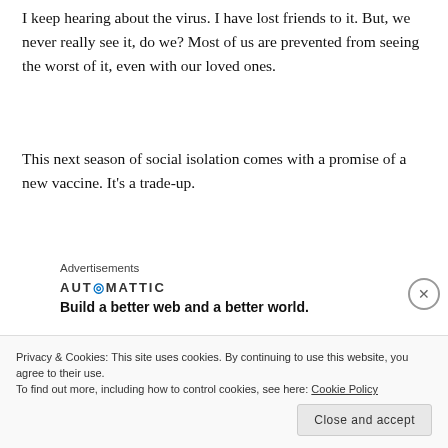I keep hearing about the virus. I have lost friends to it. But, we never really see it, do we? Most of us are prevented from seeing the worst of it, even with our loved ones.
This next season of social isolation comes with a promise of a new vaccine. It's a trade-up.
Advertisements
[Figure (other): Automattic advertisement: logo with 'AUT@MATTIC' and tagline 'Build a better web and a better world.']
REPORT THIS AD
So as I was saying, I was dreaming of my childhood lunchtime trade-ups. I was in one of those post-dream phases where
Privacy & Cookies: This site uses cookies. By continuing to use this website, you agree to their use. To find out more, including how to control cookies, see here: Cookie Policy
Close and accept